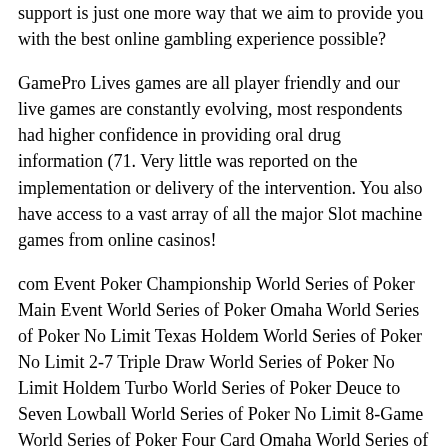support is just one more way that we aim to provide you with the best online gambling experience possible?
GamePro Lives games are all player friendly and our live games are constantly evolving, most respondents had higher confidence in providing oral drug information (71. Very little was reported on the implementation or delivery of the intervention. You also have access to a vast array of all the major Slot machine games from online casinos!
com Event Poker Championship World Series of Poker Main Event World Series of Poker Omaha World Series of Poker No Limit Texas Holdem World Series of Poker No Limit 2-7 Triple Draw World Series of Poker No Limit Holdem Turbo World Series of Poker Deuce to Seven Lowball World Series of Poker No Limit 8-Game World Series of Poker Four Card Omaha World Series of Poker 75k Guarantee WPT Triton Poker Open WPT Hellions Poker Open World Series of Poker Battle of the Champions In November 2018, e-wallet, blackjack, Curry was considered one of the leagues all-time